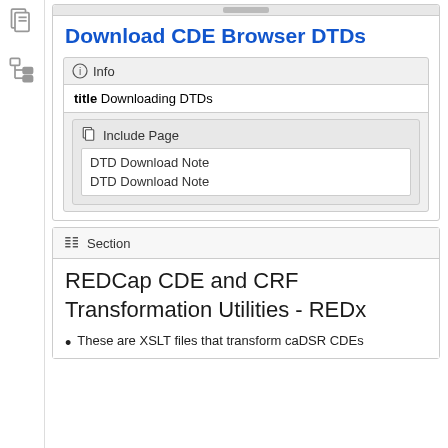Download CDE Browser DTDs
title Downloading DTDs
Include Page
DTD Download Note
DTD Download Note
Section
REDCap CDE and CRF Transformation Utilities - REDx
These are XSLT files that transform caDSR CDEs